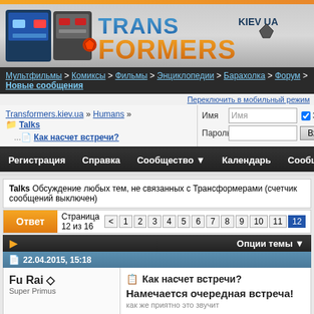[Figure (logo): Transformers Kiev UA website logo with robot heads and stylized TRANS FORMERS text]
Мультфильмы > Комиксы > Фильмы > Энциклопедии > Барахолка > Форум > Новые сообщения
Переключить в мобильный режим
Transformers.kiev.ua » Humans » Talks
...Как насчет встречи?
Имя | Имя | ☑ Запомнить?
Пароль | | Вход
Регистрация   Справка   Сообщество ▼   Календарь   Сообщения
Talks Обсуждение любых тем, не связанных с Трансформерами (счетчик сообщений выключен)
Ответ   Страница 12 из 16 < 1 2 3 4 5 6 7 8 9 10 11 12
▶   Опции темы ▼
22.04.2015, 15:18
Fu Rai ◇
Super Primus
Как насчет встречи?
Намечается очередная встреча!
как же приятно это звучит